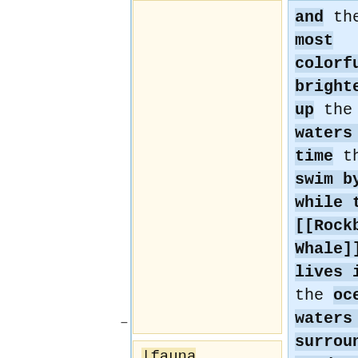and the most colorful, brightening up the waters any time they swim by, while the [[Rockback Whale]] lives in the ocean waters that surround Sendras.
|fauna =
<div class="mw-